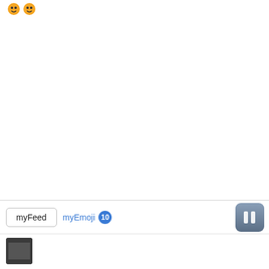[Figure (screenshot): Two golden/orange emoji faces visible at the top left of a mostly white screen]
[Figure (screenshot): App UI tab bar with 'myFeed' tab (bordered), 'myEmoji' tab (blue text) with badge showing 10, and a pause button (rounded rectangle with two vertical bars) on the right]
[Figure (screenshot): Bottom strip with a small dark thumbnail image at the lower left]